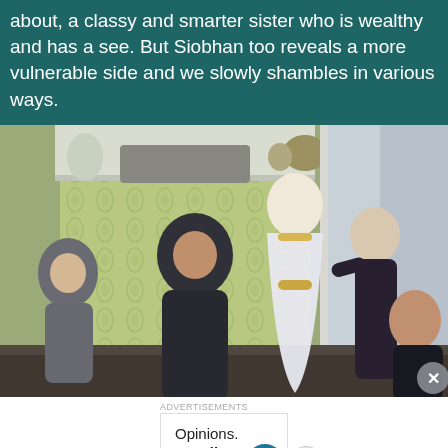about, a classy and smarter sister who is wealthy and has a see. But Siobhan too reveals a more vulnerable side and we slowly shambles in various ways.
[Figure (photo): Promotional photo of TV show cast — five elegantly dressed people (three men in suits, two women in formal dresses) posed in an upscale interior room with green wallpaper and white fireplace mantle.]
Advertisements
[Figure (screenshot): Advertisement banner: 'Opinions. We all have them!' with WordPress logo and a circular button logo on white background.]